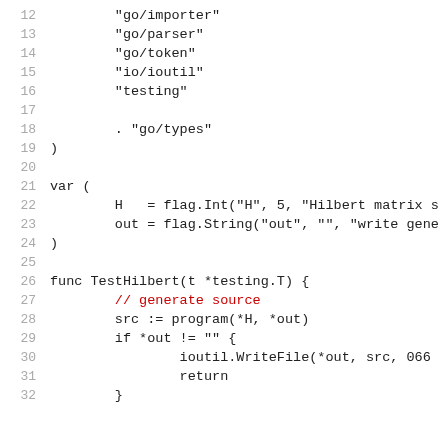Code snippet showing Go source lines 12-32 with import statements, variable declarations, and TestHilbert function definition